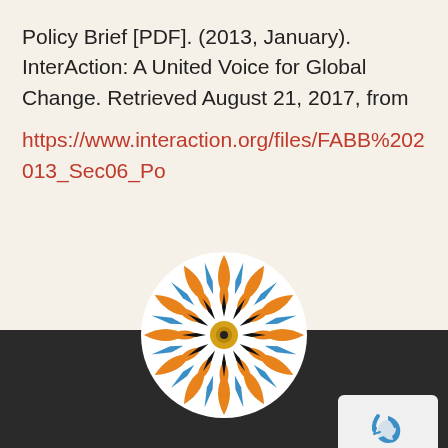Policy Brief [PDF]. (2013, January). InterAction: A United Voice for Global Change.  Retrieved August 21, 2017, from https://www.interaction.org/files/FABB%202013_Sec06_Po
[Figure (illustration): Circular decorative mandala logo with orange, blue, black and yellow geometric pattern]
About Us